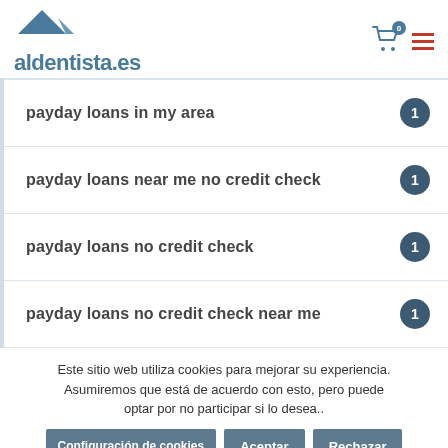aldentista.es
payday loans in my area — 1
payday loans near me no credit check — 1
payday loans no credit check — 1
payday loans no credit check near me — 1
Este sitio web utiliza cookies para mejorar su experiencia. Asumiremos que está de acuerdo con esto, pero puede optar por no participar si lo desea..
Configuración de cookies | Aceptar | Rechazar
Leer más